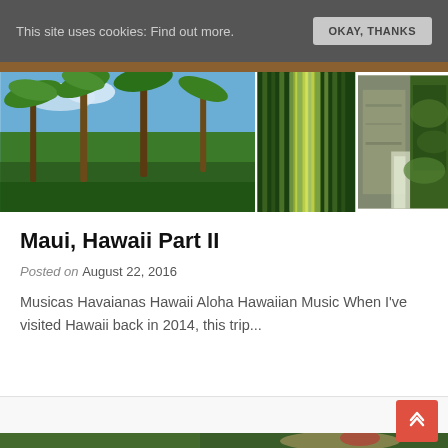This site uses cookies: Find out more. OKAY, THANKS
[Figure (photo): Three nature photos in a row: left shows palm trees and tropical vegetation under blue sky, center shows tall green bamboo or reeds with sunlight filtering through, right shows rocky cliff face with tropical vegetation]
Maui, Hawaii Part II
Posted on August 22, 2016
Musicas Havaianas Hawaii Aloha Hawaiian Music When I've visited Hawaii back in 2014, this trip...
[Figure (photo): Bottom portion of a photo showing a blonde woman with a red flower crown among green tropical foliage]